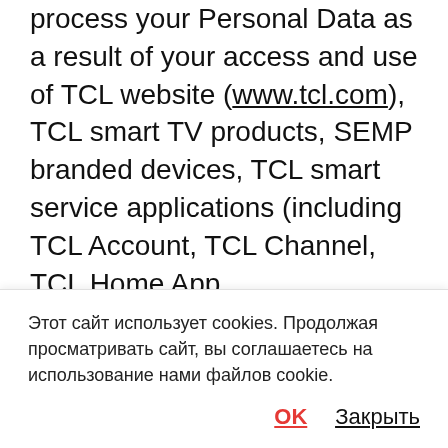process your Personal Data as a result of your access and use of TCL website (www.tcl.com), TCL smart TV products, SEMP branded devices, TCL smart service applications (including TCL Account, TCL Channel, TCL Home App, BrowserHere/T-Browser, TCL Live, TV Guard, MagiConnect, Chat Now, Smart Gallery, ...
Этот сайт использует cookies. Продолжая просматривать сайт, вы соглашаетесь на использование нами файлов cookie.
OK   Закрыть